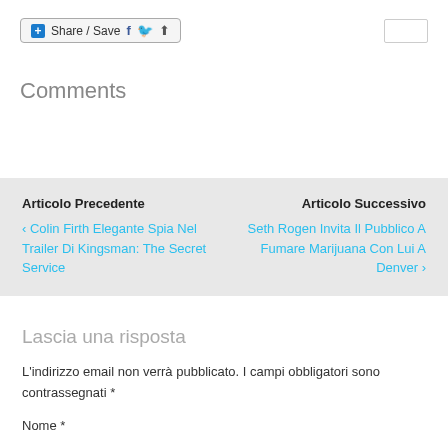[Figure (screenshot): Share/Save button with blue plus icon, Facebook, Twitter and share icons; plus a search input box on the right]
Comments
Articolo Precedente
< Colin Firth Elegante Spia Nel Trailer Di Kingsman: The Secret Service
Articolo Successivo
Seth Rogen Invita Il Pubblico A Fumare Marijuana Con Lui A Denver >
Lascia una risposta
L'indirizzo email non verrà pubblicato. I campi obbligatori sono contrassegnati *
Nome *